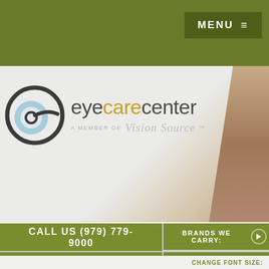MENU
[Figure (logo): Eye Care Center logo with stylized 'e' icon, text 'eyecarecenter' with 'care' in gold/yellow, and 'A MEMBER OF Vision Source™' tagline below]
CALL US (979) 779-9000
BRANDS WE CARRY:
QUESTIONS? TEXT US!
SCROLL TO TOP
CHANGE FONT SIZE: